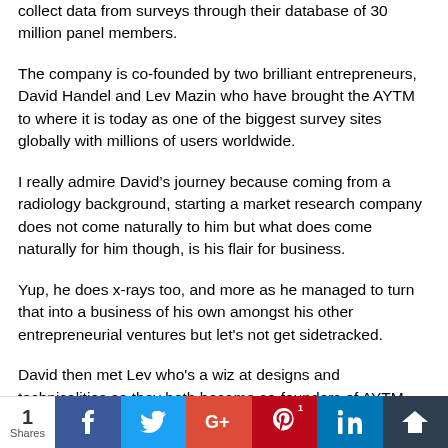collect data from surveys through their database of 30 million panel members.
The company is co-founded by two brilliant entrepreneurs, David Handel and Lev Mazin who have brought the AYTM to where it is today as one of the biggest survey sites globally with millions of users worldwide.
I really admire David's journey because coming from a radiology background, starting a market research company does not come naturally to him but what does come naturally for him though, is his flair for business.
Yup, he does x-rays too, and more as he managed to turn that into a business of his own amongst his other entrepreneurial ventures but let's not get sidetracked.
David then met Lev who's a wiz at designs and technicalities so they both became co-founders of AYTM where Liz works as the
1 Shares | Share buttons: Facebook, Twitter, Google+, Pinterest, LinkedIn, Other